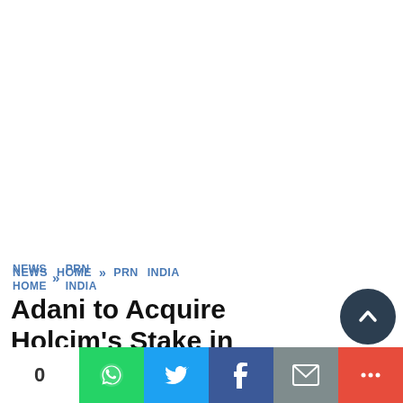NEWS HOME » PRN INDIA
Adani to Acquire Holcim's Stake in Ambuja Cements and ACC Limited
0